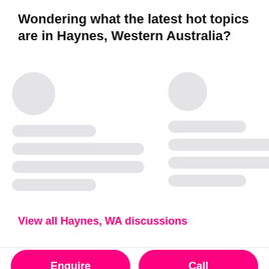Wondering what the latest hot topics are in Haynes, Western Australia?
[Figure (illustration): Two skeleton placeholder cards side by side, each with a circular avatar placeholder and four rounded rectangle skeleton lines below, representing loading content cards.]
View all Haynes, WA discussions
Enquire
Call